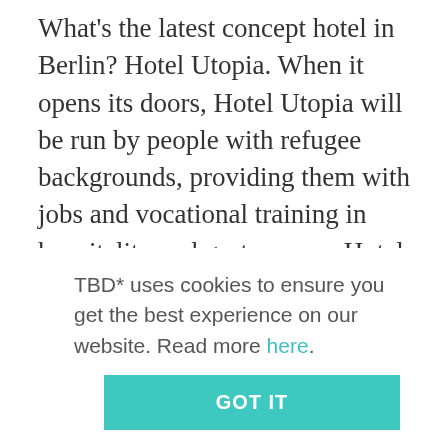What's the latest concept hotel in Berlin? Hotel Utopia. When it opens its doors, Hotel Utopia will be run by people with refugee backgrounds, providing them with jobs and vocational training in hospitality and gastronomy. Hotel Utopia wants to put a twist on a familiar story; in a clever turning of tables it allows people who have fled their homes to take on the role of hosts.
Since winning the Act for Impact Award in 2015, the four founders have been busy carrying a more...
TBD* uses cookies to ensure you get the best experience on our website. Read more here.